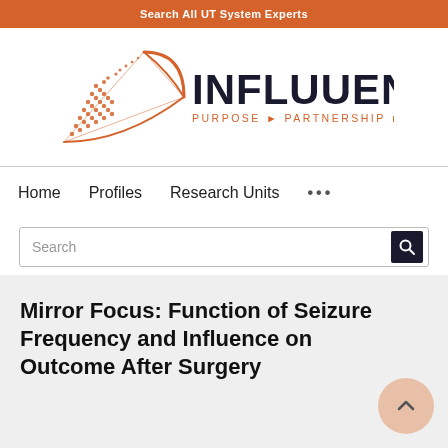Search All UT System Experts
[Figure (logo): Influuent logo with orange geometric arrow/triangle shape and text 'INFLUUENT PURPOSE ▶ PARTNERSHIP ▶ PROGRESS']
Home
Profiles
Research Units
...
Search
Mirror Focus: Function of Seizure Frequency and Influence on Outcome After Surgery